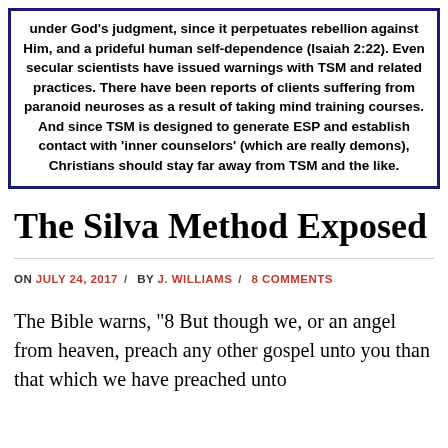under God's judgment, since it perpetuates rebellion against Him, and a prideful human self-dependence (Isaiah 2:22). Even secular scientists have issued warnings with TSM and related practices. There have been reports of clients suffering from paranoid neuroses as a result of taking mind training courses. And since TSM is designed to generate ESP and establish contact with 'inner counselors' (which are really demons), Christians should stay far away from TSM and the like.
The Silva Method Exposed
ON JULY 24, 2017 / BY J. WILLIAMS / 8 COMMENTS
The Bible warns, "8 But though we, or an angel from heaven, preach any other gospel unto you than that which we have preached unto